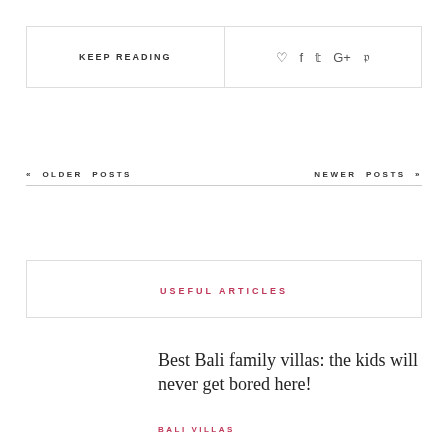KEEP READING
♡  f  t  G+  p
« OLDER POSTS
NEWER POSTS »
USEFUL ARTICLES
Best Bali family villas: the kids will never get bored here!
BALI VILLAS